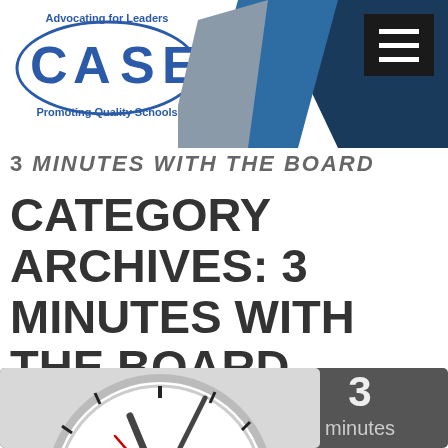[Figure (logo): CASE logo - Advocating for Leaders, Promoting Quality Schools]
3 MINUTES WITH THE BOARD (partial, cut off)
CATEGORY ARCHIVES: 3 MINUTES WITH THE BOARD
[Figure (photo): Close-up of an analog clock face with a '3 minutes' label on a dark background to the right]